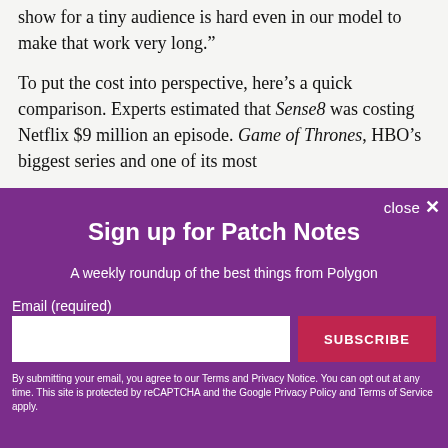show for a tiny audience is hard even in our model to make that work very long.”
To put the cost into perspective, here’s a quick comparison. Experts estimated that Sense8 was costing Netflix $9 million an episode. Game of Thrones, HBO’s biggest series and one of its most
[Figure (screenshot): Newsletter signup overlay with purple background. Title: Sign up for Patch Notes. Subtitle: A weekly roundup of the best things from Polygon. Email input field and SUBSCRIBE button. Close button in top right. Disclaimer text at bottom.]